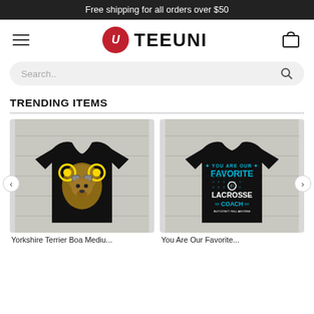Free shipping for all orders over $50
[Figure (logo): TEEUNI logo with hamburger menu and cart icon navigation bar]
Search..
TRENDING ITEMS
[Figure (photo): Black t-shirt with steampunk Yorkshire Terrier dog graphic wearing goggles and gears]
[Figure (photo): Black t-shirt with text 'YOU ARE OUR FAVORITE LACROSSE COACH BUT DON'T TELL ANYONE' in cyan and white]
Yorkshire Terrier Boa Mediu...
You Are Our Favorite...